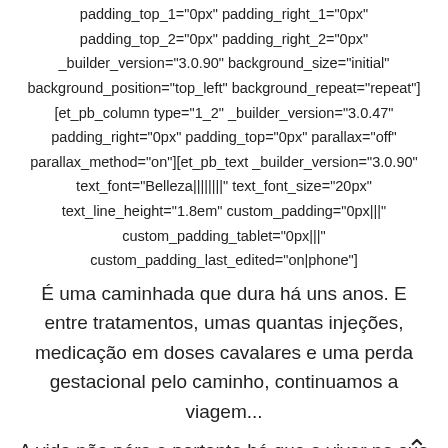padding_top_1="0px" padding_right_1="0px" padding_top_2="0px" padding_right_2="0px" _builder_version="3.0.90" background_size="initial" background_position="top_left" background_repeat="repeat"] [et_pb_column type="1_2" _builder_version="3.0.47" padding_right="0px" padding_top="0px" parallax="off" parallax_method="on"][et_pb_text _builder_version="3.0.90" text_font="Belleza||||||||" text_font_size="20px" text_line_height="1.8em" custom_padding="0px|||" custom_padding_tablet="0px|||" custom_padding_last_edited="on|phone"]
É uma caminhada que dura há uns anos. E entre tratamentos, umas quantas injeções, medicação em doses cavalares e uma perda gestacional pelo caminho, continuamos a viagem...
A vida não pára e portanto há que a viver na sua plenitude. Como tal, comecei a fazer algumas alterações graduais nos meus hábitos para conseguir